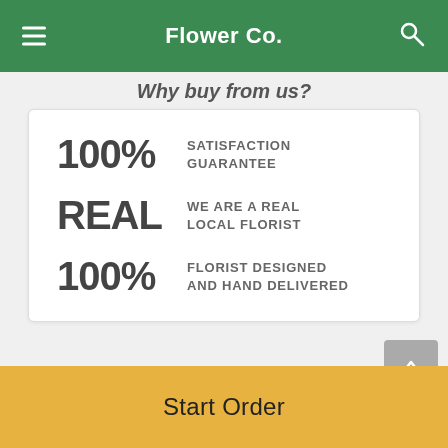Flower Co.
Why buy from us?
100% SATISFACTION GUARANTEE
REAL WE ARE A REAL LOCAL FLORIST
100% FLORIST DESIGNED AND HAND DELIVERED
Description
Start Order